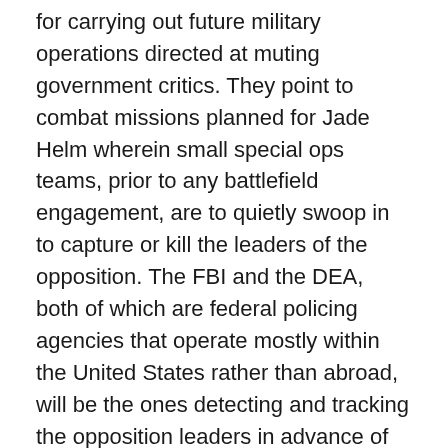for carrying out future military operations directed at muting government critics. They point to combat missions planned for Jade Helm wherein small special ops teams, prior to any battlefield engagement, are to quietly swoop in to capture or kill the leaders of the opposition. The FBI and the DEA, both of which are federal policing agencies that operate mostly within the United States rather than abroad, will be the ones detecting and tracking the opposition leaders in advance of the arrival of the special ops teams that will take those targets out.
Put more bluntly, the states designated as allied or hostile territory for the purposes of Operation Jade Helm 15 are not stand-ins for foreign nations, if the rumors of FBI and DEA cooperation with the military are true. The states are cast in the role of actual states of the United States. Thus,